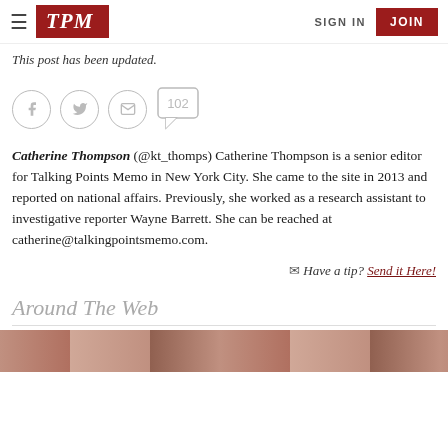TPM | SIGN IN | JOIN
This post has been updated.
[Figure (infographic): Social sharing icons row: Facebook circle icon, Twitter circle icon, Email circle icon, comment bubble with count 102]
Catherine Thompson (@kt_thomps) Catherine Thompson is a senior editor for Talking Points Memo in New York City. She came to the site in 2013 and reported on national affairs. Previously, she worked as a research assistant to investigative reporter Wayne Barrett. She can be reached at catherine@talkingpointsmemo.com.
Have a tip? Send it Here!
Around The Web
[Figure (photo): Partial bottom image strip showing a person, cropped at bottom of page]